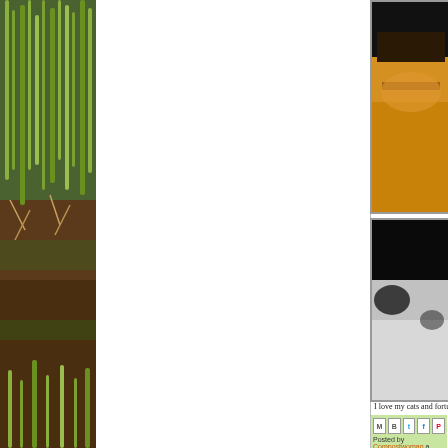[Figure (photo): Left sidebar showing a garden photograph with green shoots and plants growing in soil, tall green onion/leek plants visible, taken outdoors]
[Figure (photo): Top right: close-up photo of a cat, showing orange/tan fur with dark markings, partial face view]
[Figure (photo): Bottom right: close-up photo of a cat, showing black and white fur, soft focus]
I love my cats and fortu...
[Figure (screenshot): Social share buttons: Email (M), Blogger (B), Twitter bird, Facebook (f), Pinterest (P) icons in a row on light green background]
Posted by Compostwoman a...